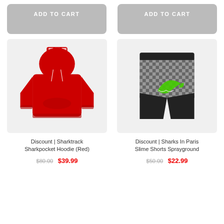ADD TO CART
ADD TO CART
[Figure (photo): Red Sharktrack Sharkpocket Hoodie with white diamond pattern on hood]
Discount | Sharktrack Sharkpocket Hoodie (Red)
$80.00  $39.99
[Figure (photo): Black and gray checkered Sharks In Paris Slime Shorts by Sprayground with green shark logo]
Discount | Sharks In Paris Slime Shorts Sprayground
$50.00  $22.99